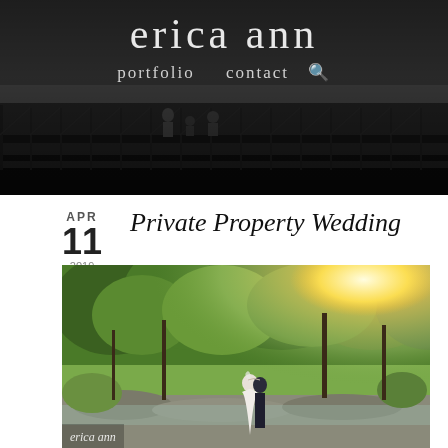erica ann
portfolio  contact
[Figure (photo): Black and white photograph of people on a bridge/walkway with railing, taken outdoors]
APR
11
2019
Private Property Wedding
[Figure (photo): Color photograph of a bride and groom kissing outdoors near a river with trees and golden sunlight in the background]
erica ann